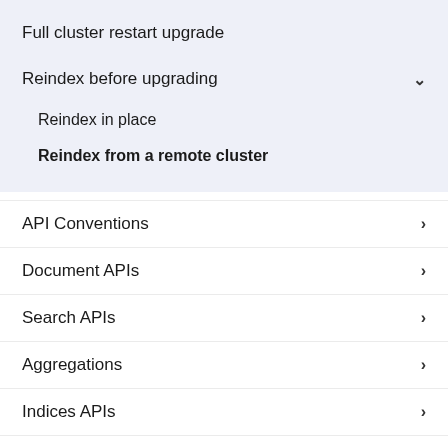Full cluster restart upgrade
Reindex before upgrading
Reindex in place
Reindex from a remote cluster
API Conventions
Document APIs
Search APIs
Aggregations
Indices APIs
cat APIs
Cluster APIs